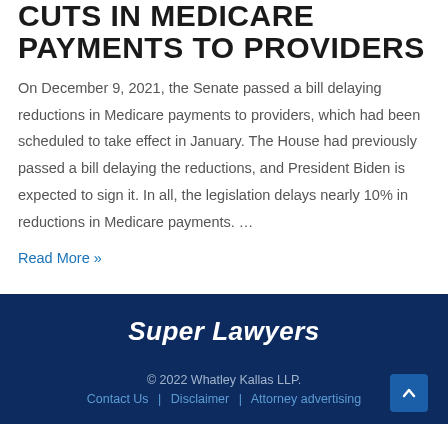CUTS IN MEDICARE PAYMENTS TO PROVIDERS
On December 9, 2021, the Senate passed a bill delaying reductions in Medicare payments to providers, which had been scheduled to take effect in January. The House had previously passed a bill delaying the reductions, and President Biden is expected to sign it. In all, the legislation delays nearly 10% in reductions in Medicare payments. …
Read More »
[Figure (logo): Super Lawyers logo in white italic text on dark navy background]
© 2022 Whatley Kallas LLP.
Contact Us  |  Disclaimer  |  Attorney advertising